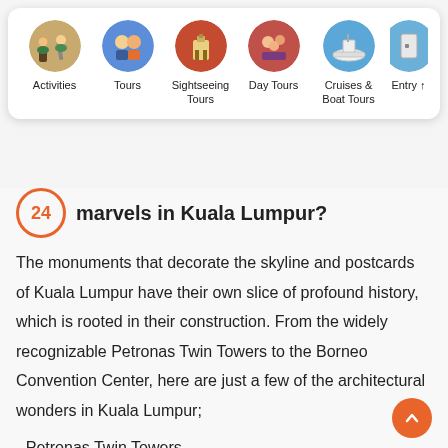[Figure (screenshot): Navigation bar with circular photo icons and labels: Activities, Tours, Sightseeing Tours, Day Tours, Cruises & Boat Tours, Entry (partially visible)]
marvels in Kuala Lumpur?
The monuments that decorate the skyline and postcards of Kuala Lumpur have their own slice of profound history, which is rooted in their construction. From the widely recognizable Petronas Twin Towers to the Borneo Convention Center, here are just a few of the architectural wonders in Kuala Lumpur;
- Petronas Twin Towers
- Banguna Sultan Abdul Samad (Merdeka Square)
- Lord Murugan Statue,Batu Caves